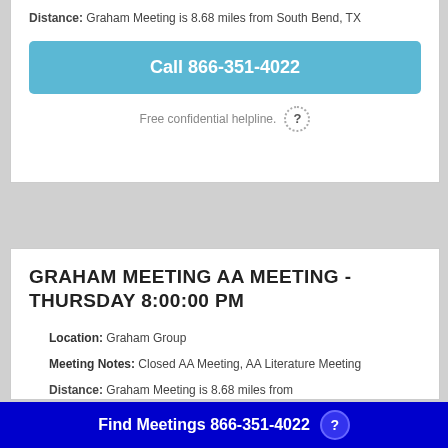Distance: Graham Meeting is 8.68 miles from South Bend, TX
Call 866-351-4022
Free confidential helpline.
GRAHAM MEETING AA MEETING - THURSDAY 8:00:00 PM
Location: Graham Group
Meeting Notes: Closed AA Meeting, AA Literature Meeting
Distance: Graham Meeting is 8.68 miles from
Find Meetings 866-351-4022